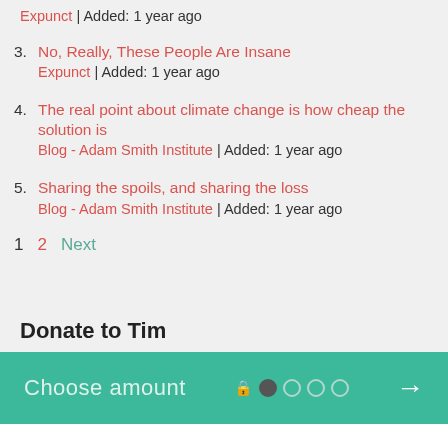Expunct | Added: 1 year ago
3. No, Really, These People Are Insane
Expunct | Added: 1 year ago
4. The real point about climate change is how cheap the solution is
Blog - Adam Smith Institute | Added: 1 year ago
5. Sharing the spoils, and sharing the loss
Blog - Adam Smith Institute | Added: 1 year ago
1  2  Next
Donate to Tim
[Figure (infographic): Donate widget with teal background showing 'Choose amount' text, step indicator dots, and right arrow]